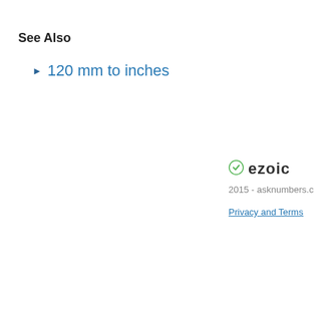See Also
120 mm to inches
ezoic
2015 - asknumbers.com
Privacy and Terms